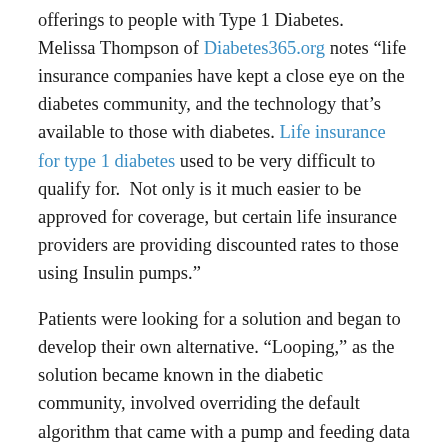offerings to people with Type 1 Diabetes. Melissa Thompson of Diabetes365.org notes “life insurance companies have kept a close eye on the diabetes community, and the technology that’s available to those with diabetes. Life insurance for type 1 diabetes used to be very difficult to qualify for. Not only is it much easier to be approved for coverage, but certain life insurance providers are providing discounted rates to those using Insulin pumps.”
Patients were looking for a solution and began to develop their own alternative. “Looping,” as the solution became known in the diabetic community, involved overriding the default algorithm that came with a pump and feeding data from a glucose monitor into the calculation. Doing this required multiple pieces of technology to be connected into a system that could be managed by an end user. It allowed diabetics to